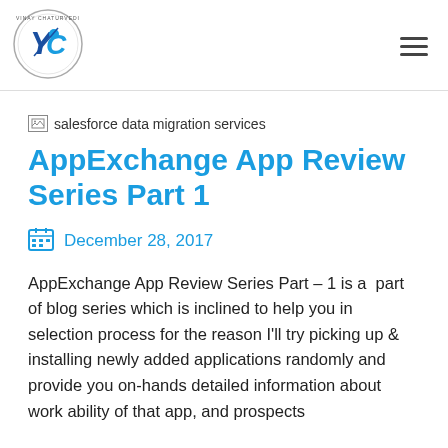[Figure (logo): Vinay Chaturvedi circular logo with YC initials in blue]
[Figure (illustration): Broken image placeholder labeled 'salesforce data migration services']
AppExchange App Review Series Part 1
December 28, 2017
AppExchange App Review Series Part – 1 is a part of blog series which is inclined to help you in selection process for the reason I'll try picking up & installing newly added applications randomly and provide you on-hands detailed information about work ability of that app, and prospects